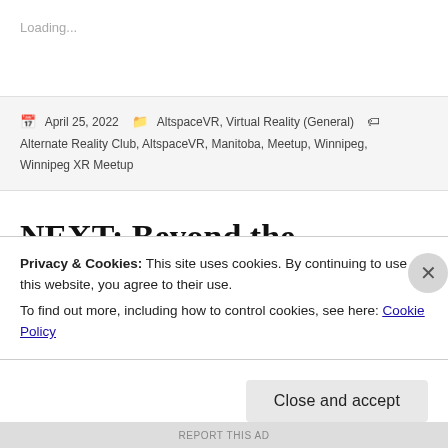Loading...
April 25, 2022  AltspaceVR, Virtual Reality (General)  Alternate Reality Club, AltspaceVR, Manitoba, Meetup, Winnipeg, Winnipeg XR Meetup
NEXT: Beyond the Metaverse Virtual Conference—A Free
Privacy & Cookies: This site uses cookies. By continuing to use this website, you agree to their use.
To find out more, including how to control cookies, see here: Cookie Policy
Close and accept